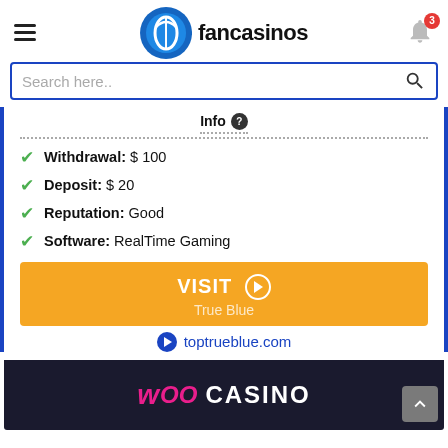fancasinos
Search here..
Info
Withdrawal: $ 100
Deposit: $ 20
Reputation: Good
Software: RealTime Gaming
VISIT - True Blue
toptrueblue.com
[Figure (logo): Woo Casino logo on dark background]